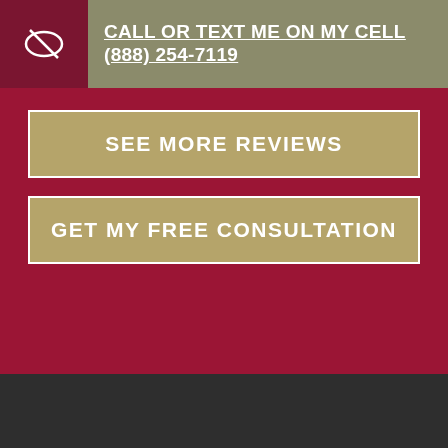[Figure (logo): White eye/scale icon on dark red background]
CALL OR TEXT ME ON MY CELL (888) 254-7119
SEE MORE REVIEWS
GET MY FREE CONSULTATION
(888) 254-7119
I ATTORNEYS AT W
Contact Us
We are online!